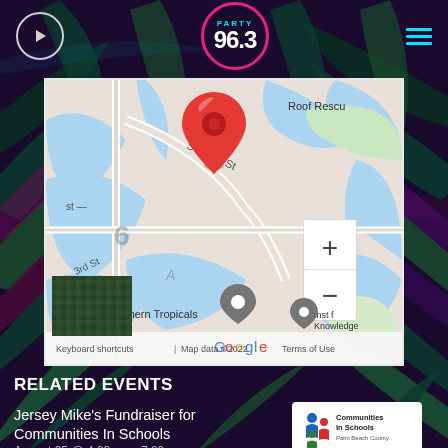[Figure (screenshot): Party 96.3 radio station mobile app header with play button, logo circle, and hamburger menu on dark palm leaf background]
[Figure (map): Google Maps screenshot showing SW 2nd St area with red location pin, Southern Tropicals marker, Inst of Knowledge marker, zoom controls, and map attribution showing Map data ©2022]
RELATED EVENTS
Jersey Mike's Fundraiser for Communities In Schools
August 25 @ 4:00 pm - 7:00 pm
[Figure (logo): Communities In Schools Palm Beach County logo]